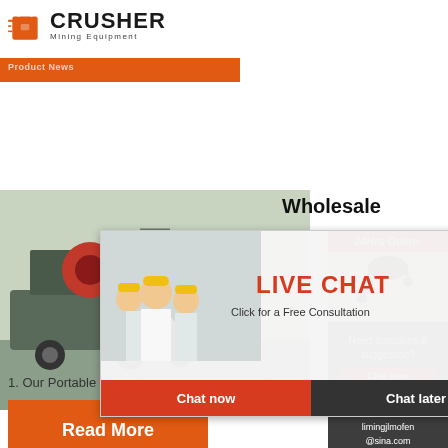[Figure (logo): Crusher Mining Equipment logo with orange shopping bag icon and bold CRUSHER text]
[Figure (infographic): Orange navigation bar partially visible at top]
[Figure (photo): Industrial mining machinery on truck on left side]
Wholesale
[Figure (screenshot): Live Chat popup overlay with workers in hard hats. Contains LIVE CHAT title, 'Click for a Free Consultation', Chat now and Chat later buttons]
[Figure (photo): Customer service representative with headset on right sidebar. 24Hrs Online banner, Need questions & suggestion? Chat Now button, Enquiry link, limingjlmofen@sina.com]
1. Our Portable Stone Crusher is hot sale in Chi...
[Figure (other): Read More orange button]